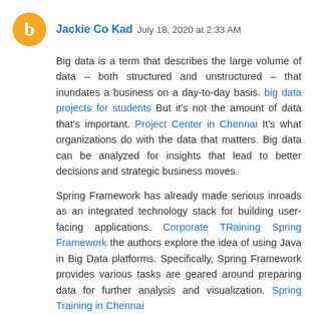[Figure (illustration): Orange circular avatar with white blogger 'b' icon]
Jackie Co Kad July 18, 2020 at 2:33 AM
Big data is a term that describes the large volume of data – both structured and unstructured – that inundates a business on a day-to-day basis. big data projects for students But it's not the amount of data that's important. Project Center in Chennai It's what organizations do with the data that matters. Big data can be analyzed for insights that lead to better decisions and strategic business moves.
Spring Framework has already made serious inroads as an integrated technology stack for building user-facing applications. Corporate TRaining Spring Framework the authors explore the idea of using Java in Big Data platforms. Specifically, Spring Framework provides various tasks are geared around preparing data for further analysis and visualization. Spring Training in Chennai